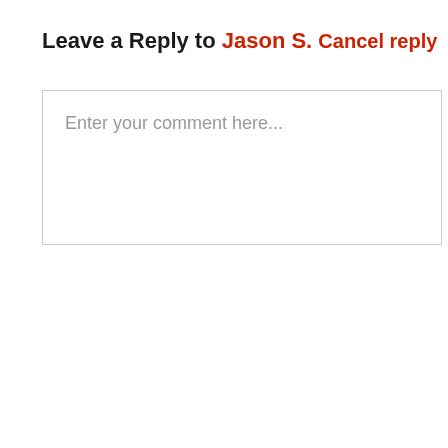Leave a Reply to Jason S. Cancel reply
Enter your comment here...